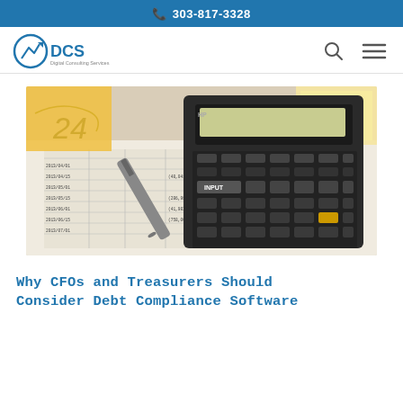303-817-3328
[Figure (logo): DCS Digital Consulting Services logo with circular chart icon and text 'DCS' beside it]
[Figure (photo): HP financial calculator on top of financial spreadsheets with a pen beside it]
Why CFOs and Treasurers Should Consider Debt Compliance Software